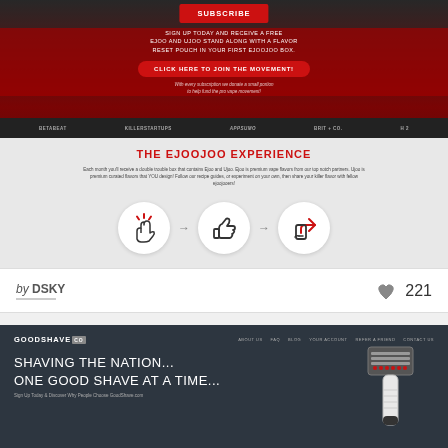[Figure (screenshot): EJooJoo subscription website screenshot showing subscribe button, red promotional banner with sign-up offer, click here to join the movement button, small italic donation text, partner logos bar (BetaBeat, KillerStartups, Appsumo, Brit+Co, and another), grey section with THE EJOOJOO EXPERIENCE heading, descriptive text, and three circular icons with arrows]
by DSKY
221
[Figure (screenshot): GoodShave website screenshot showing logo, navigation links (About Us, FAQ, Blog, Your Account, Refer a Friend, Contact Us), headline SHAVING THE NATION... ONE GOOD SHAVE AT A TIME... with a razor image, and sub-text Sign Up Today & Discover Why People Choose GoodShave.com]